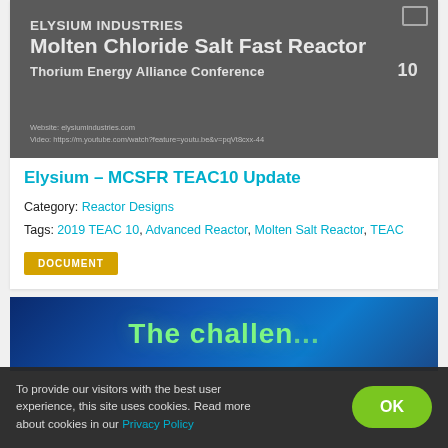[Figure (screenshot): Dark grey slide thumbnail showing ELYSIUM INDUSTRIES Molten Chloride Salt Fast Reactor, Thorium Energy Alliance Conference 10, with website and video URL at bottom]
Elysium – MCSFR TEAC10 Update
Category: Reactor Designs
Tags: 2019 TEAC 10, Advanced Reactor, Molten Salt Reactor, TEAC
DOCUMENT
[Figure (screenshot): Blue light-ray background with green text reading 'The challen...' (partially visible)]
To provide our visitors with the best user experience, this site uses cookies. Read more about cookies in our Privacy Policy